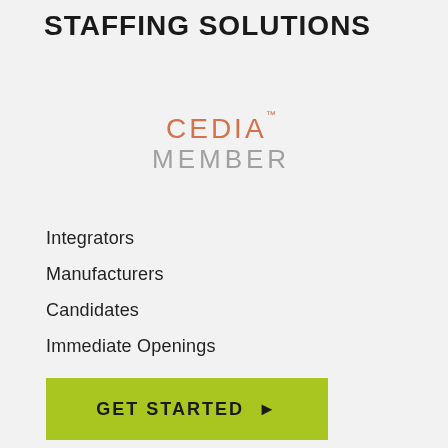STAFFING SOLUTIONS
[Figure (logo): CEDIA MEMBER logo with CEDIA in orange/salmon color and MEMBER in gray]
Integrators
Manufacturers
Candidates
Immediate Openings
GET STARTED ▶